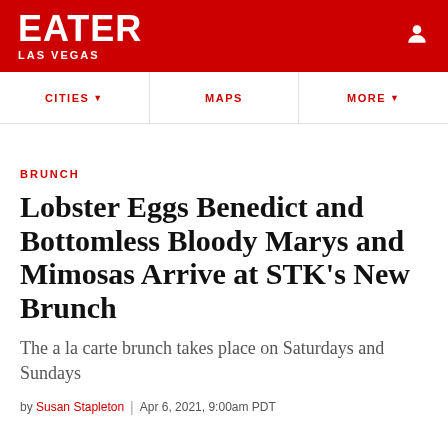EATER LAS VEGAS
BRUNCH
Lobster Eggs Benedict and Bottomless Bloody Marys and Mimosas Arrive at STK's New Brunch
The a la carte brunch takes place on Saturdays and Sundays
by Susan Stapleton | Apr 6, 2021, 9:00am PDT